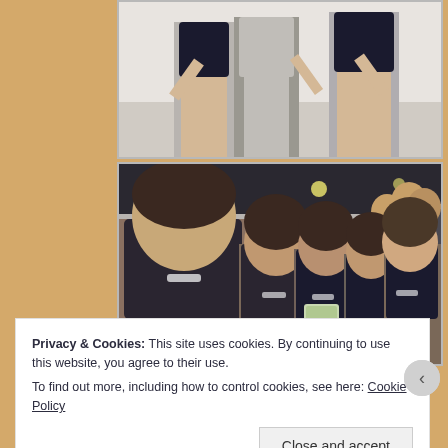[Figure (photo): Photo of people standing indoors, partial upper body view, casual clothing]
[Figure (photo): Group selfie photo of five young women smiling at an indoor event, with other people in the background]
Privacy & Cookies: This site uses cookies. By continuing to use this website, you agree to their use.
To find out more, including how to control cookies, see here: Cookie Policy
Close and accept